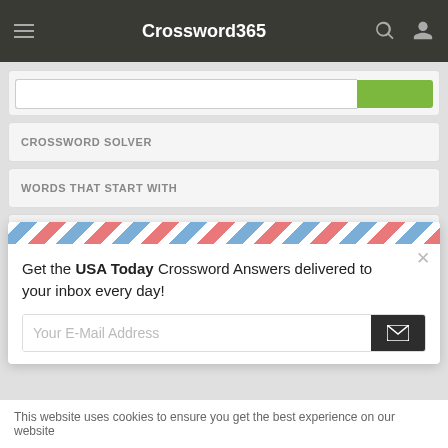Crossword365
CROSSWORD SOLVER
WORDS THAT START WITH
WORDS THAT END WITH
Get the USA Today Crossword Answers delivered to your inbox every day!
Your E-Mail Address
This website uses cookies to ensure you get the best experience on our website